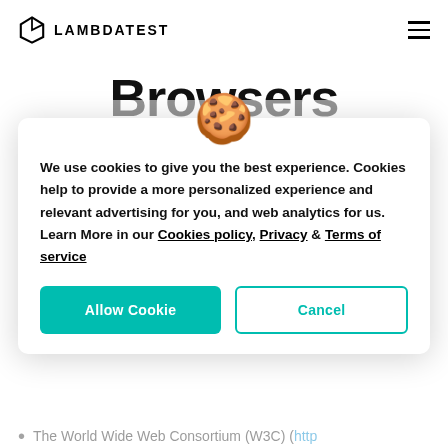LAMBDATEST
Browsers
LambdaTest enables you to instantly spin your website in Google Chrome's latest and legacy version, includ... Chrome 32
We use cookies to give you the best experience. Cookies help to provide a more personalized experience and relevant advertising for you, and web analytics for us. Learn More in our Cookies policy, Privacy & Terms of service
The World Wide Web Consortium (W3C) (http